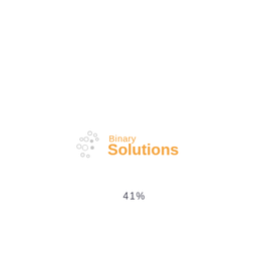[Figure (logo): Binary Solutions company logo with circular dot pattern on the left and orange text 'Binary Solutions' on the right]
41%